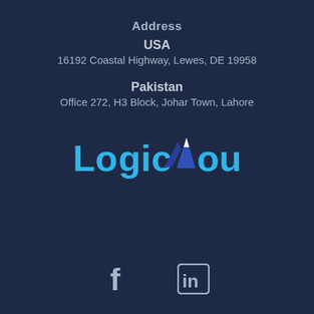Address
USA
16192 Coastal Highway, Lewes, DE 19958
Pakistan
Office 272, H3 Block, Johar Town, Lahore
[Figure (logo): LogicMount logo in blue tones with mountain icon between 'logic' and 'ount' text]
[Figure (other): Facebook and LinkedIn social media icons]